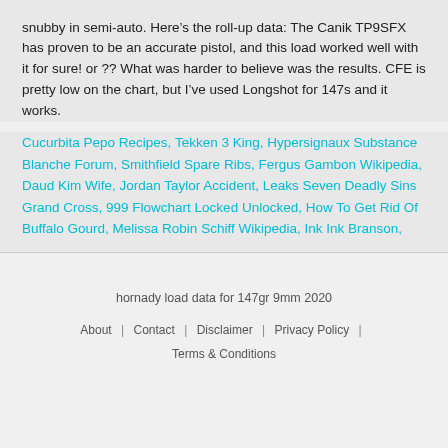snubby in semi-auto. Here's the roll-up data: The Canik TP9SFX has proven to be an accurate pistol, and this load worked well with it for sure! or ?? What was harder to believe was the results. CFE is pretty low on the chart, but I've used Longshot for 147s and it works.
Cucurbita Pepo Recipes, Tekken 3 King, Hypersignaux Substance Blanche Forum, Smithfield Spare Ribs, Fergus Gambon Wikipedia, Daud Kim Wife, Jordan Taylor Accident, Leaks Seven Deadly Sins Grand Cross, 999 Flowchart Locked Unlocked, How To Get Rid Of Buffalo Gourd, Melissa Robin Schiff Wikipedia, Ink Ink Branson,
hornady load data for 147gr 9mm 2020
About | Contact | Disclaimer | Privacy Policy | Terms & Conditions